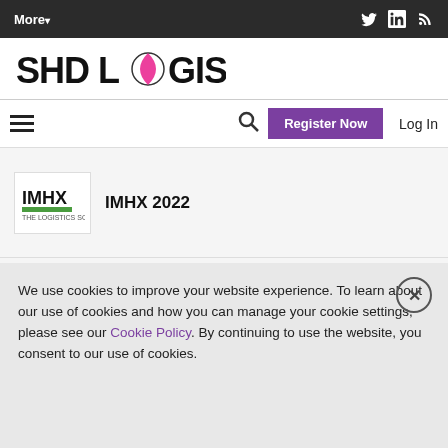More▾
[Figure (logo): SHD Logistics logo with colorful compass/globe icon]
☰  🔍  Register Now  Log In
[Figure (logo): IMHX 2022 logo — green text with exhibition branding]
IMHX 2022
[Figure (photo): Prologis warehouse building exterior photo]
Prologis big box breaks BREEAM record
AUG 24, 2022
We use cookies to improve your website experience. To learn about our use of cookies and how you can manage your cookie settings, please see our Cookie Policy. By continuing to use the website, you consent to our use of cookies.